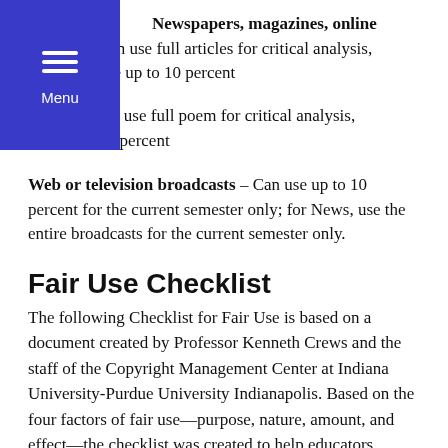Newspapers, magazines, online articles – Can use full articles for critical analysis, otherwise use up to 10 percent
Poems – Can use full poem for critical analysis, otherwise 10 percent
Web or television broadcasts – Can use up to 10 percent for the current semester only; for News, use the entire broadcasts for the current semester only.
Fair Use Checklist
The following Checklist for Fair Use is based on a document created by Professor Kenneth Crews and the staff of the Copyright Management Center at Indiana University-Purdue University Indianapolis. Based on the four factors of fair use—purpose, nature, amount, and effect—the checklist was created to help educators